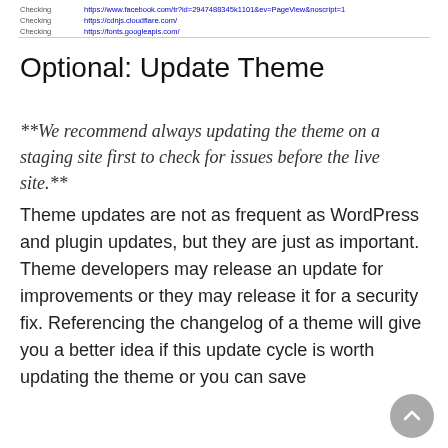| Checking | https://www.facebook.com/tr?id=2947488345k1101&ev=PageView&noscript=1 |
| Checking | https://cdnjs.cloudflare.com/ |
| Checking | https://fonts.googleapis.com/ |
Optional: Update Theme
**We recommend always updating the theme on a staging site first to check for issues before the live site.**
Theme updates are not as frequent as WordPress and plugin updates, but they are just as important. Theme developers may release an update for improvements or they may release it for a security fix. Referencing the changelog of a theme will give you a better idea if this update cycle is worth updating the theme or you can save